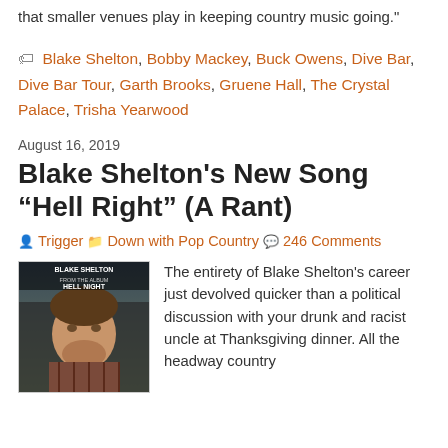that smaller venues play in keeping country music going."
Blake Shelton, Bobby Mackey, Buck Owens, Dive Bar, Dive Bar Tour, Garth Brooks, Gruene Hall, The Crystal Palace, Trisha Yearwood
August 16, 2019
Blake Shelton's New Song “Hell Right” (A Rant)
Trigger  Down with Pop Country  246 Comments
[Figure (photo): Album cover for Blake Shelton's Hell Right single, showing Blake Shelton's face with text 'BLAKE SHELTON FROM THE ALBUM HELL NIGHT' overlaid on a dark background]
The entirety of Blake Shelton's career just devolved quicker than a political discussion with your drunk and racist uncle at Thanksgiving dinner. All the headway country